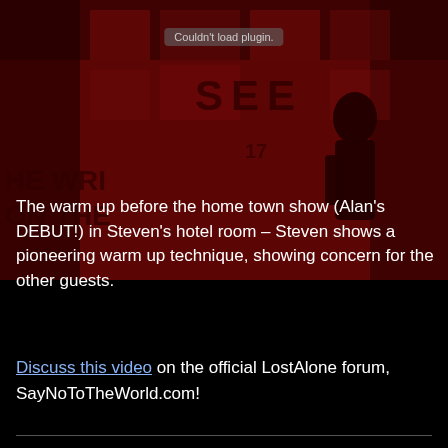[Figure (screenshot): Dark red-tinted background photo of a person silhouetted against a wall covered in graffiti text including 'SEE' and 'THE WRITING ON THE WALL'. The image has a strong red overlay.]
Couldn't load plugin.
The warm up before the home town show (Alan's DEBUT!) in Steven's hotel room – Steven shows a pioneering warm up technique, showing concern for the other guests.
Discuss this video on the official LostAlone forum, SayNoToTheWorld.com!